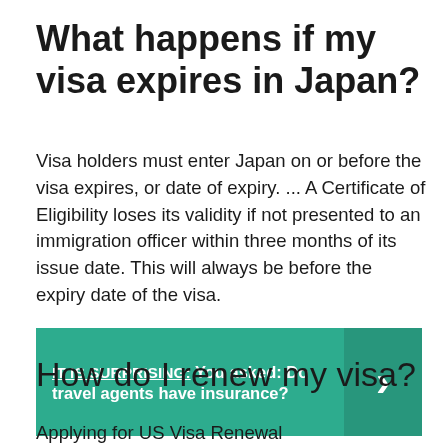What happens if my visa expires in Japan?
Visa holders must enter Japan on or before the visa expires, or date of expiry. ... A Certificate of Eligibility loses its validity if not presented to an immigration officer within three months of its issue date. This will always be before the expiry date of the visa.
[Figure (infographic): Teal callout box with text 'IT IS SURPRISING: You asked: Do travel agents have insurance?' and a right-pointing arrow chevron on the right side.]
How do I renew my visa?
Applying for US Visa Renewal